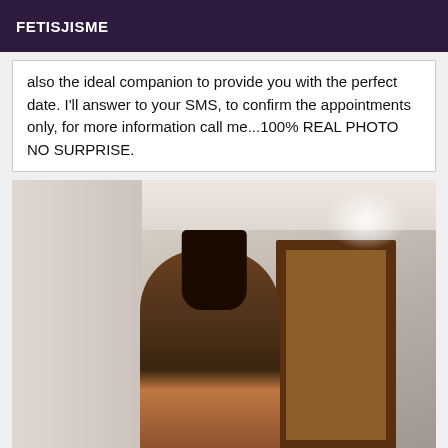FETISJISME
also the ideal companion to provide you with the perfect date. I'll answer to your SMS, to confirm the appointments only, for more information call me...100% REAL PHOTO NO SURPRISE.
[Figure (photo): Mirror selfie photo of a young woman with long dark hair, wearing a colorful top, holding a white phone, standing in front of a wooden door frame. The photo is taken in an indoor setting with light-colored walls.]